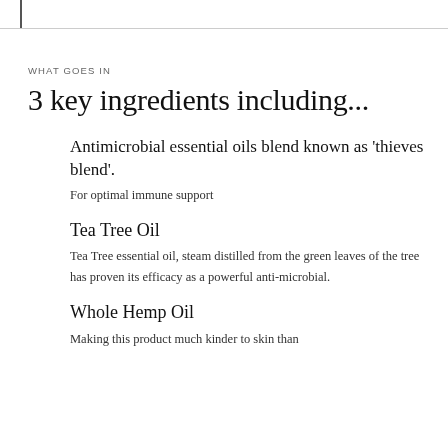WHAT GOES IN
3 key ingredients including...
Antimicrobial essential oils blend known as 'thieves blend'.
For optimal immune support
Tea Tree Oil
Tea Tree essential oil, steam distilled from the green leaves of the tree has proven its efficacy as a powerful anti-microbial.
Whole Hemp Oil
Making this product much kinder to skin than